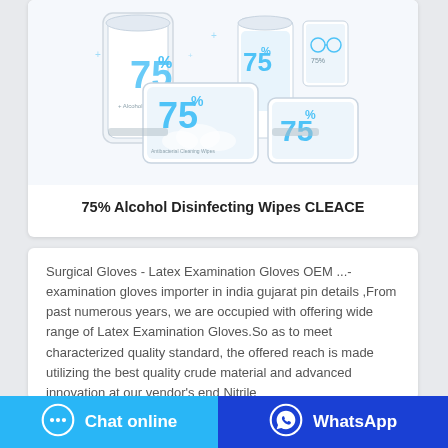[Figure (photo): Product photo showing multiple white packages of 75% Alcohol Disinfecting Wipes CLEACE, including cylindrical containers and flat packs with blue '75%' branding]
75% Alcohol Disinfecting Wipes CLEACE
Surgical Gloves - Latex Examination Gloves OEM ...- examination gloves importer in india gujarat pin details ,From past numerous years, we are occupied with offering wide range of Latex Examination Gloves.So as to meet characterized quality standard, the offered reach is made utilizing the best quality crude material and advanced innovation at our vendor's end Nitrile
Chat online   WhatsApp